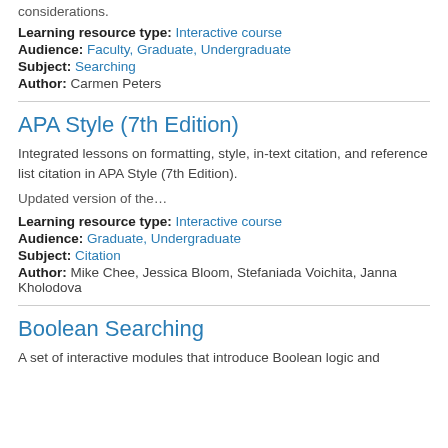considerations.
Learning resource type: Interactive course
Audience: Faculty, Graduate, Undergraduate
Subject: Searching
Author: Carmen Peters
APA Style (7th Edition)
Integrated lessons on formatting, style, in-text citation, and reference list citation in APA Style (7th Edition).
Updated version of the…
Learning resource type: Interactive course
Audience: Graduate, Undergraduate
Subject: Citation
Author: Mike Chee, Jessica Bloom, Stefaniada Voichita, Janna Kholodova
Boolean Searching
A set of interactive modules that introduce Boolean logic and